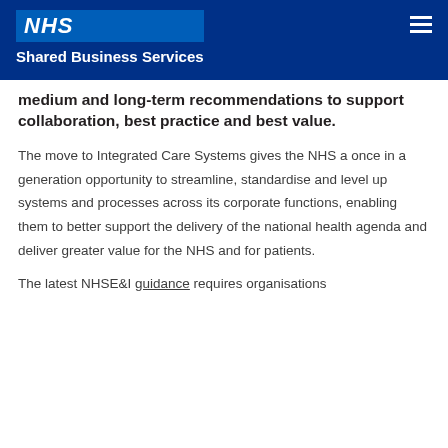NHS Shared Business Services
medium and long-term recommendations to support collaboration, best practice and best value.
The move to Integrated Care Systems gives the NHS a once in a generation opportunity to streamline, standardise and level up systems and processes across its corporate functions, enabling them to better support the delivery of the national health agenda and deliver greater value for the NHS and for patients.
The latest NHSE&I guidance requires organisations